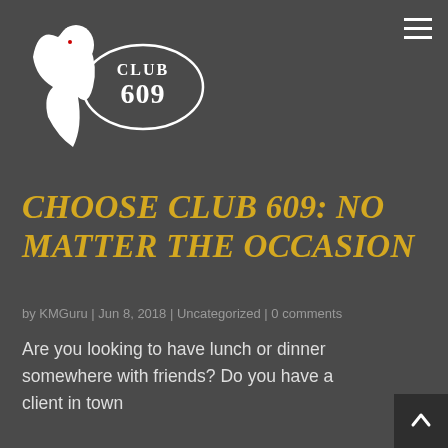[Figure (logo): Club 609 logo: a woman's silhouette with flowing hair beside an oval badge reading CLUB 609 in ornate lettering]
CHOOSE CLUB 609: NO MATTER THE OCCASION
by KMGuru | Jun 8, 2018 | Uncategorized | 0 comments
Are you looking to have lunch or dinner somewhere with friends? Do you have a client in town who you need to impress? Or are you on the quest to find the best nightlife in Joplin, Missouri? Then this is the place to go. No matter the